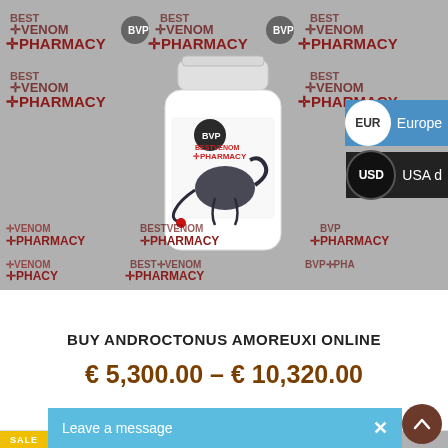[Figure (photo): White pill bottle with Best Venom Pharmacy logo and scorpion illustration, displayed against a tiled watermark background repeating 'BEST VENOM PHARMACY' and 'BVP' logos in red and black.]
EUR  Europe
USD  USA d
BUY ANDROCTONUS AMOREUXI ONLINE
€ 5,300.00 – € 10,320.00
[Figure (photo): Partial second product image with SALE badge, showing repeating Best Venom Pharmacy watermark background.]
Leave a message  ×